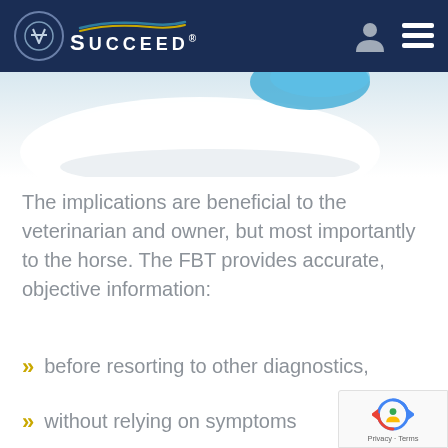SUCCEED®
[Figure (photo): Partial view of a white SUCCEED product bag/package with blue accent, cropped at the header boundary.]
The implications are beneficial to the veterinarian and owner, but most importantly to the horse. The FBT provides accurate, objective information:
before resorting to other diagnostics,
without relying on symptoms